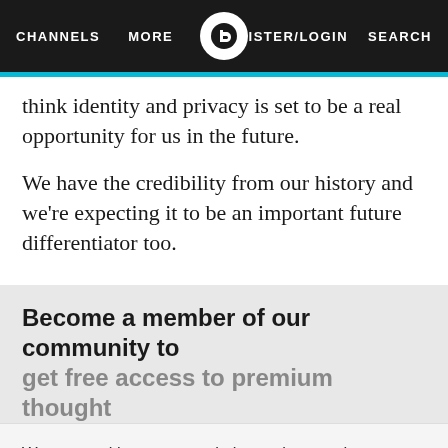CHANNELS  MORE  REGISTER/LOGIN  SEARCH
think identity and privacy is set to be a real opportunity for us in the future.
We have the credibility from our history and we're expecting it to be an important future differentiator too.
Become a member of our community to get free access to premium thought
We use cookies on our website to give you the most relevant experience by remembering your preferences and repeat visits. By clicking "Accept", you consent to the use of all the cookies.